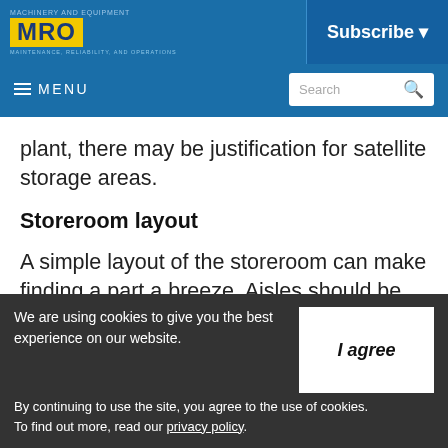MRO — MAINTENANCE, RELIABILITY, AND OPERATIONS | Subscribe
≡ MENU | Search
plant, there may be justification for satellite storage areas.
Storeroom layout
A simple layout of the storeroom can make finding a part a breeze. Aisles should be clearly
We are using cookies to give you the best experience on our website. By continuing to use the site, you agree to the use of cookies. To find out more, read our privacy policy.